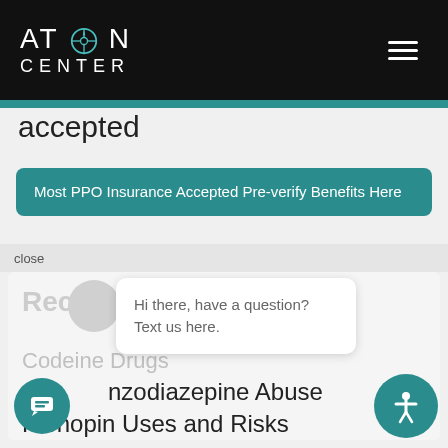[Figure (logo): Aton Center logo with compass rose icon on black background]
accepted
Most PPO Insurance Accepted Pre-verify Benefits Here
close
Recent Posts
Hi there, have a question? Text us here.
Codeine Drugs
nzodiazepine Abuse
Klonopin Uses and Risks